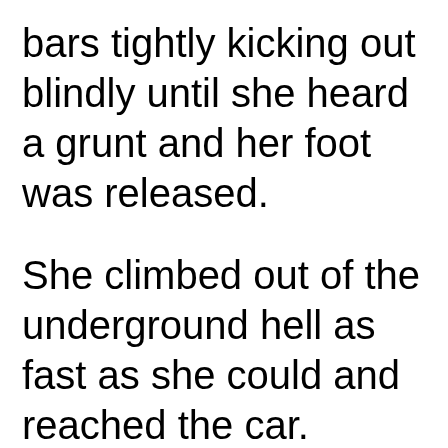bars tightly kicking out blindly until she heard a grunt and her foot was released.
She climbed out of the underground hell as fast as she could and reached the car. Philippe had left the